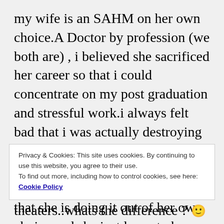my wife is an SAHM on her own choice.A Doctor by profession (we both are) , i believed she sacrificed her career so that i could concentrate on my post graduation and stressful work.i always felt bad that i was actually destroying her career so that i could move forward in life. But my biggest surprise came when she told me that she is doing it out of her own choice and she just loves to be with the kids.She has made my family strong. The only thing in my mind once i finish my shift is to get home to that wonderful warm family atmosphere she has so painstakingly
Privacy & Cookies: This site uses cookies. By continuing to use this website, you agree to their use.
To find out more, including how to control cookies, see here:
Cookie Policy
Close and accept
theaters..whats the difference ? 🙂